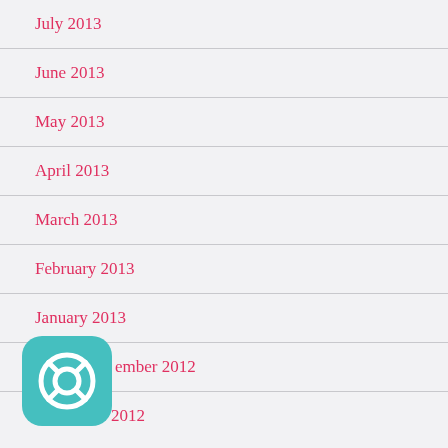July 2013
June 2013
May 2013
April 2013
March 2013
February 2013
January 2013
December 2012
November 2012
[Figure (logo): Teal rounded square icon with a life-preserver/help wheel symbol in white]